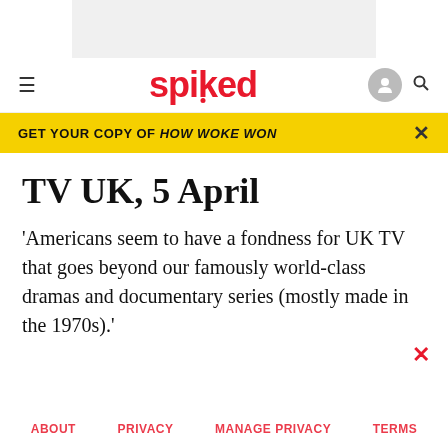[Figure (screenshot): Grey advertisement banner placeholder at the top of the page]
≡  spiked  [user icon] [search icon]
GET YOUR COPY OF HOW WOKE WON  ×
TV UK, 5 April
'Americans seem to have a fondness for UK TV that goes beyond our famously world-class dramas and documentary series (mostly made in the 1970s).'
ABOUT   PRIVACY   MANAGE PRIVACY   TERMS